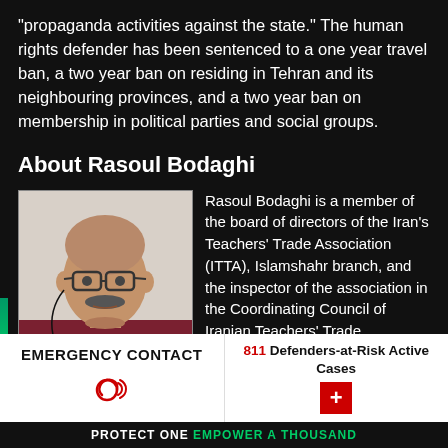"propaganda activities against the state." The human rights defender has been sentenced to a one year travel ban, a two year ban on residing in Tehran and its neighbouring provinces, and a two year ban on membership in political parties and social groups.
About Rasoul Bodaghi
[Figure (photo): Photo of Rasoul Bodaghi, a middle-aged bald man with glasses and a mustache, wearing a dark red/maroon shirt]
Rasoul Bodaghi is a member of the board of directors of the Iran's Teachers' Trade Association (ITTA), Islamshahr branch, and the inspector of the association in the Coordinating Council of Iranian Teachers' Trade Associations. The human rights defender had previously spent seven years in prison for
EMERGENCY CONTACT
811 Defenders-at-Risk Active Cases
PROTECT ONE EMPOWER A THOUSAND